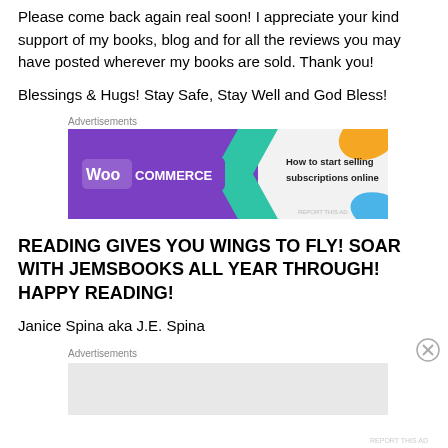Please come back again real soon! I appreciate your kind support of my books, blog and for all the reviews you may have posted wherever my books are sold. Thank you!
Blessings & Hugs! Stay Safe, Stay Well and God Bless!
Advertisements
[Figure (screenshot): WooCommerce advertisement banner: purple background on the left with WooCommerce logo and a teal arrow, right side shows orange and blue decorative shapes with text 'How to start selling subscriptions online']
REPORT THIS AD
READING GIVES YOU WINGS TO FLY! SOAR WITH JEMSBOOKS ALL YEAR THROUGH! HAPPY READING!
Janice Spina aka J.E. Spina
Advertisements
REPORT THIS AD